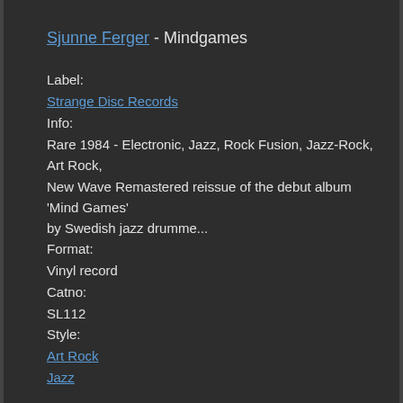Sjunne Ferger - Mindgames
Label:
Strange Disc Records
Info:
Rare 1984 - Electronic, Jazz, Rock Fusion, Jazz-Rock, Art Rock, New Wave Remastered reissue of the debut album 'Mind Games' by Swedish jazz drumme...
Format:
Vinyl record
Catno:
SL112
Style:
Art Rock
Jazz
Vinyl record condition:
Media:
New
Sleeve:
New
(quick info)